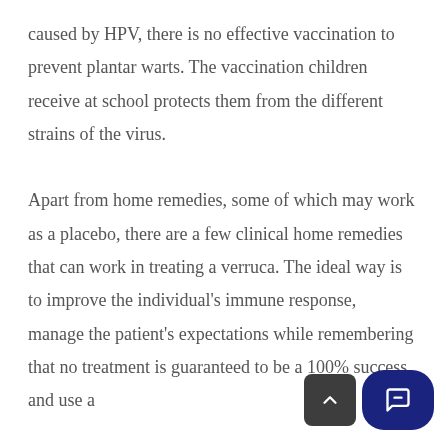caused by HPV, there is no effective vaccination to prevent plantar warts. The vaccination children receive at school protects them from the different strains of the virus.

Apart from home remedies, some of which may work as a placebo, there are a few clinical home remedies that can work in treating a verruca. The ideal way is to improve the individual's immune response, manage the patient's expectations while remembering that no treatment is guaranteed to be a 100% success, and use a